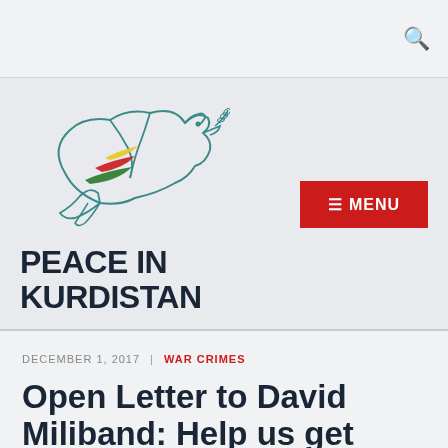[Figure (logo): Peace in Kurdistan dove logo with olive branch, colored wing streaks in yellow, red, and green]
PEACE IN KURDISTAN
DECEMBER 1, 2017  |  WAR CRIMES
Open Letter to David Miliband: Help us get